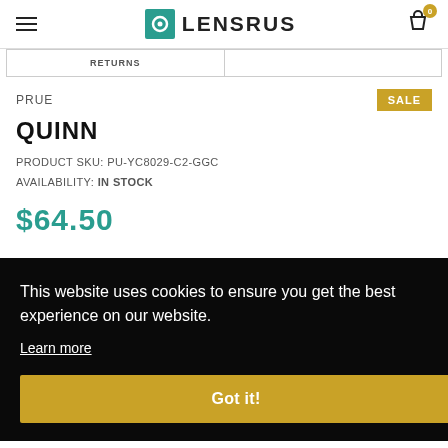LENSRUS
| RETURNS |
| --- |
|  |
PRUE
QUINN
PRODUCT SKU: PU-YC8029-C2-GGC
AVAILABILITY: IN STOCK
$64.50
This website uses cookies to ensure you get the best experience on our website.
Learn more
Got it!
Guides: Sizing and PD Measurement